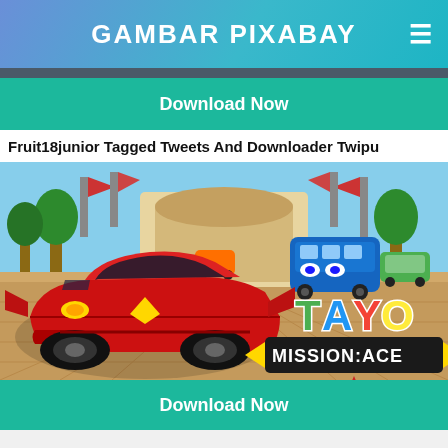GAMBAR PIXABAY
Download Now
Fruit18junior Tagged Tweets And Downloader Twipu
[Figure (illustration): Tayo Mission Ace animated scene with a red race car in the foreground and a blue bus in the background, with the colorful 'TAYO MISSION:ACE' logo overlay]
Download Now